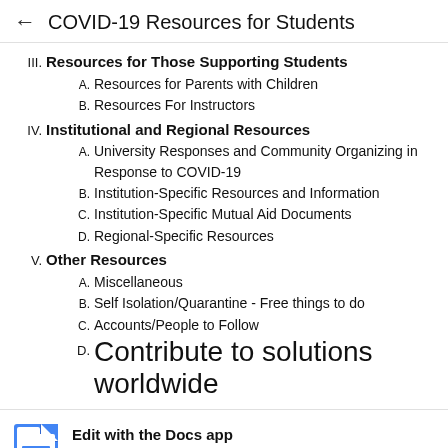← COVID-19 Resources for Students
III. Resources for Those Supporting Students
A. Resources for Parents with Children
B. Resources For Instructors
IV. Institutional and Regional Resources
A. University Responses and Community Organizing in Response to COVID-19
B. Institution-Specific Resources and Information
C. Institution-Specific Mutual Aid Documents
D. Regional-Specific Resources
V. Other Resources
A. Miscellaneous
B. Self Isolation/Quarantine - Free things to do
C. Accounts/People to Follow
D. Contribute to solutions worldwide
Edit with the Docs app
Make tweaks, leave comments, and share with others to edit at the same time.